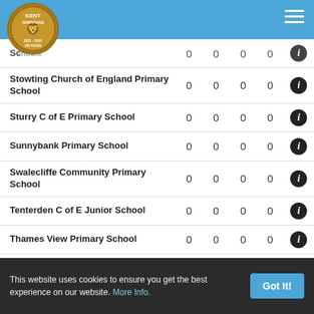Kent Admissions - Schools Table
| School |  |  |  |  |  |
| --- | --- | --- | --- | --- | --- |
| [partial row] | 0 | 0 | 0 | 0 | ℹ |
| Stowting Church of England Primary School | 0 | 0 | 0 | 0 | ℹ |
| Sturry C of E Primary School | 0 | 0 | 0 | 0 | ℹ |
| Sunnybank Primary School | 0 | 0 | 0 | 0 | ℹ |
| Swalecliffe Community Primary School | 0 | 0 | 0 | 0 | ℹ |
| Tenterden C of E Junior School | 0 | 0 | 0 | 0 | ℹ |
| Thames View Primary School | 0 | 0 | 0 | 0 | ℹ |
| The Academy of Woodlands | 0 | 0 | 0 | 0 | ℹ |
| The Anthony Roper Primary School | 0 | 0 | 0 | 0 | ℹ |
This website uses cookies to ensure you get the best experience on our website. More Info. Got It!